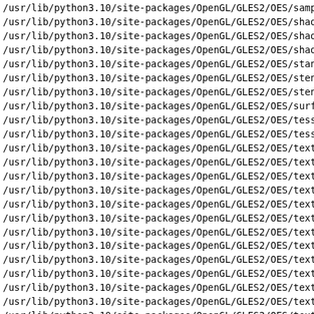/usr/lib/python3.10/site-packages/OpenGL/GLES2/OES/sample...
/usr/lib/python3.10/site-packages/OpenGL/GLES2/OES/shader...
/usr/lib/python3.10/site-packages/OpenGL/GLES2/OES/shader...
/usr/lib/python3.10/site-packages/OpenGL/GLES2/OES/shader...
/usr/lib/python3.10/site-packages/OpenGL/GLES2/OES/standa...
/usr/lib/python3.10/site-packages/OpenGL/GLES2/OES/stenci...
/usr/lib/python3.10/site-packages/OpenGL/GLES2/OES/stenci...
/usr/lib/python3.10/site-packages/OpenGL/GLES2/OES/surfac...
/usr/lib/python3.10/site-packages/OpenGL/GLES2/OES/tessel...
/usr/lib/python3.10/site-packages/OpenGL/GLES2/OES/tessel...
/usr/lib/python3.10/site-packages/OpenGL/GLES2/OES/textur...
/usr/lib/python3.10/site-packages/OpenGL/GLES2/OES/textur...
/usr/lib/python3.10/site-packages/OpenGL/GLES2/OES/textur...
/usr/lib/python3.10/site-packages/OpenGL/GLES2/OES/textur...
/usr/lib/python3.10/site-packages/OpenGL/GLES2/OES/textur...
/usr/lib/python3.10/site-packages/OpenGL/GLES2/OES/textur...
/usr/lib/python3.10/site-packages/OpenGL/GLES2/OES/textur...
/usr/lib/python3.10/site-packages/OpenGL/GLES2/OES/textur...
/usr/lib/python3.10/site-packages/OpenGL/GLES2/OES/textur...
/usr/lib/python3.10/site-packages/OpenGL/GLES2/OES/textur...
/usr/lib/python3.10/site-packages/OpenGL/GLES2/OES/textur...
/usr/lib/python3.10/site-packages/OpenGL/GLES2/OES/textur...
/usr/lib/python3.10/site-packages/OpenGL/GLES2/OES/textur...
/usr/lib/python3.10/site-packages/OpenGL/GLES2/OES/vertex...
/usr/lib/python3.10/site-packages/OpenGL/GLES2/OES/vertex...
/usr/lib/python3.10/site-packages/OpenGL/GLES2/OES/vertex...
/usr/lib/python3.10/site-packages/OpenGL/GLES2/OES/viewpo...
/usr/lib/python3.10/site-packages/OpenGL/GLES2/OVR
/usr/lib/python3.10/site-packages/OpenGL/GLES2/OVR/__init...
/usr/lib/python3.10/site-packages/OpenGL/GLES2/OVR/__pyca...